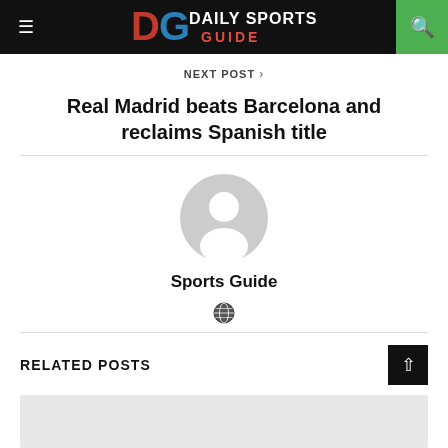Daily Sports Guide
NEXT POST >
Real Madrid beats Barcelona and reclaims Spanish title
[Figure (illustration): Default author avatar: grey circle with white silhouette of a person]
Sports Guide
[Figure (illustration): Small globe/website icon]
RELATED POSTS
[Figure (photo): Related post thumbnail image placeholder (grey)]